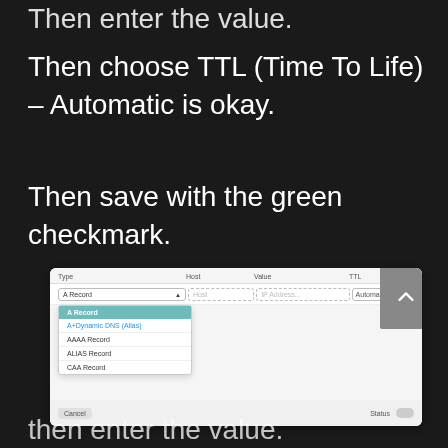Then choose TTL (Time To Life) – Automatic is okay.
Then save with the green checkmark.
[Figure (screenshot): DNS record management UI showing a dropdown for record Type (A Record selected with options: A Record, A+Dynamic DNS (Alias), AAAA Record, ALIAS Record, CAA Record), Host field, Value field, TTL set to Automatic, with a scroll button on the right and Status toggle at the bottom.]
then enter the value.